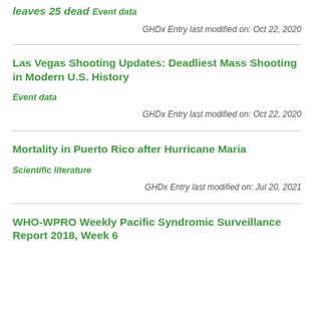leaves 25 dead
Event data
GHDx Entry last modified on: Oct 22, 2020
Las Vegas Shooting Updates: Deadliest Mass Shooting in Modern U.S. History
Event data
GHDx Entry last modified on: Oct 22, 2020
Mortality in Puerto Rico after Hurricane Maria
Scientific literature
GHDx Entry last modified on: Jul 20, 2021
WHO-WPRO Weekly Pacific Syndromic Surveillance Report 2018, Week 6